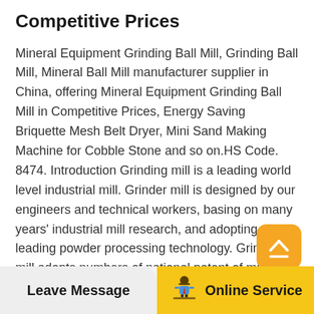Competitive Prices
Mineral Equipment Grinding Ball Mill, Grinding Ball Mill, Mineral Ball Mill manufacturer supplier in China, offering Mineral Equipment Grinding Ball Mill in Competitive Prices, Energy Saving Briquette Mesh Belt Dryer, Mini Sand Making Machine for Cobble Stone and so on.HS Code. 8474. Introduction Grinding mill is a leading world level industrial mill. Grinder mill is designed by our engineers and technical workers, basing on many years' industrial mill research, and adopting world leading powder processing technology. Grinding mill adopts numbers of national patent of mill, such as trapezium working surface.
Grinding Planetary Cement Ceramic Rod Mill Mining
Leave Message | Online Service